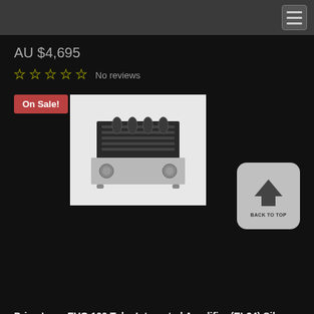AU $4,695
No reviews
On Sale!
[Figure (photo): PrimaLuna EVO 100 Tube Integrated Amplifier silver product photo on white background]
BACK TO TOP
PrimaLuna EVO 100 Tube Integrated Amplifier (EL34) Silver
AU $3,290
On Sale!
$3,795
No reviews